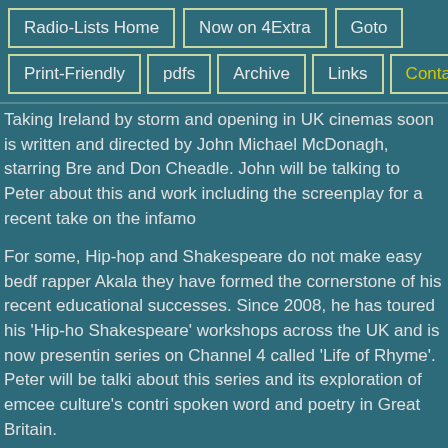Radio-Lists Home
Now on 4Extra
Goto
Print-Friendly
pdfs
Archive
Links
Contact
Taking Ireland by storm and opening in UK cinemas soon is written and directed by John Michael McDonagh, starring Bre and Don Cheadle. John will be talking to Peter about this and work including the screenplay for a recent take on the infamo
For some, Hip-hop and Shakespeare do not make easy bedf rapper Akala they have formed the cornerstone of his recent educational successes. Since 2008, he has toured his 'Hip-ho Shakespeare' workshops across the UK and is now presentin series on Channel 4 called 'Life of Rhyme'. Peter will be talki about this series and its exploration of emcee culture's contri spoken word and poetry in Great Britain.
Trojan Records for many IS reggae music, and now Universa a CD box set telling the story of the label through archive cla and unreleased material. Laurence Cane-Honeysett compile will also be talking to Peter about his book 'Young, Gifted and
Jo Bunting will be talking to a very recognisable face. Sally L